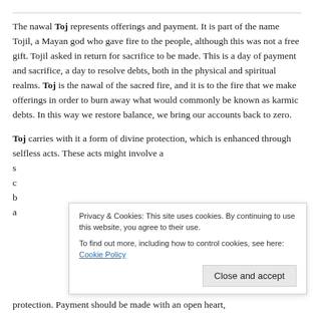The nawal Toj represents offerings and payment. It is part of the name Tojil, a Mayan god who gave fire to the people, although this was not a free gift. Tojil asked in return for sacrifice to be made. This is a day of payment and sacrifice, a day to resolve debts, both in the physical and spiritual realms. Toj is the nawal of the sacred fire, and it is to the fire that we make offerings in order to burn away what would commonly be known as karmic debts. In this way we restore balance, we bring our accounts back to zero.
Toj carries with it a form of divine protection, which is enhanced through selfless acts. These acts might involve a sacrifice of one's own comfort for others, or contribution of one's own time, energy or resources for the benefit of others. This might be taken a step further by actually paying for someone else's protection. Payment should be made with an open heart,
Privacy & Cookies: This site uses cookies. By continuing to use this website, you agree to their use. To find out more, including how to control cookies, see here: Cookie Policy